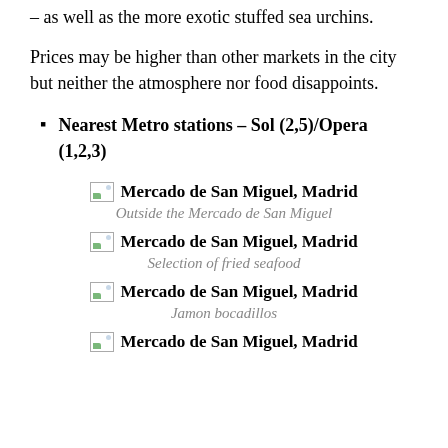– as well as the more exotic stuffed sea urchins.
Prices may be higher than other markets in the city but neither the atmosphere nor food disappoints.
Nearest Metro stations – Sol (2,5)/Opera (1,2,3)
[Figure (photo): Mercado de San Miguel, Madrid – Outside the Mercado de San Miguel]
Outside the Mercado de San Miguel
[Figure (photo): Mercado de San Miguel, Madrid – Selection of fried seafood]
Selection of fried seafood
[Figure (photo): Mercado de San Miguel, Madrid – Jamon bocadillos]
Jamon bocadillos
[Figure (photo): Mercado de San Miguel, Madrid]